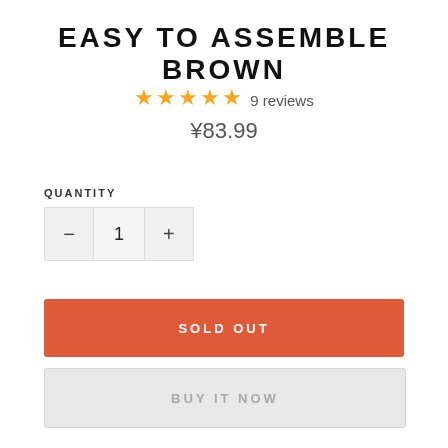EASY TO ASSEMBLE BROWN
★★★★★ 9 reviews
¥83.99
QUANTITY
− 1 +
SOLD OUT
BUY IT NOW